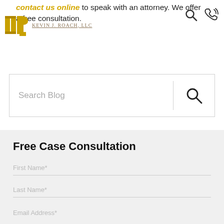contact us online to speak with an attorney. We offer a free consultation. [Kevin J. Roach LLC logo]
[Figure (screenshot): Search blog input bar with magnifying glass icon on the right]
Free Case Consultation
First Name*
Last Name*
Email Address*